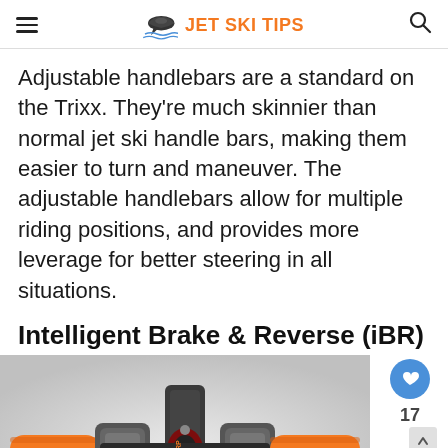JET SKI TIPS
Adjustable handlebars are a standard on the Trixx. They're much skinnier than normal jet ski handle bars, making them easier to turn and maneuver. The adjustable handlebars allow for multiple riding positions, and provides more leverage for better steering in all situations.
Intelligent Brake & Reverse (iBR)
[Figure (photo): Close-up view of jet ski handlebars with orange grips and black body, seen from above]
WHAT'S NEXT → Sea-Doo Spark VS Se...